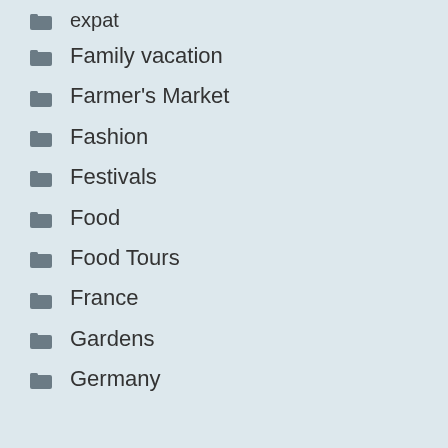expat
Family vacation
Farmer's Market
Fashion
Festivals
Food
Food Tours
France
Gardens
Germany